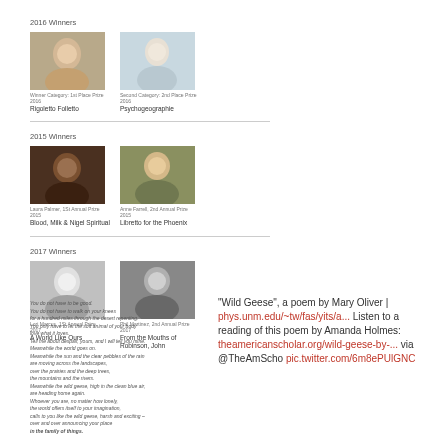2016 Winners
[Figure (photo): Two portrait photos of 2016 winners with small captions]
Rigoletto Folletto
Psychogeographie
2015 Winners
[Figure (photo): Two portrait photos of 2015 winners with small captions]
Blood, Milk & Nigel Spiritual
Libretto for the Phoenix
2017 Winners
[Figure (photo): Two portrait photos of 2017 winners, black and white]
A World Like Ours
From the Mouths of Robinson, John
You do not have to be good.
You do not have to walk on your knees
for a hundred miles through the desert repenting.
You only have to let the soft animal of your body
love what it loves.
Tell me about despair, yours, and I will tell you mine.
Meanwhile the world goes on.
Meanwhile the sun and the clear pebbles of the rain
are moving across the landscapes,
over the prairies and the deep trees,
the mountains and the rivers.
Meanwhile the wild geese, high in the clean blue air,
are heading home again.
Whoever you are, no matter how lonely,
the world offers itself to your imagination,
calls to you like the wild geese, harsh and exciting –
over and over announcing your place
in the family of things.
"Wild Geese", a poem by Mary Oliver | phys.unm.edu/~tw/fas/yits/a... Listen to a reading of this poem by Amanda Holmes: theamericanscholar.org/wild-geese-by-... via @TheAmScho pic.twitter.com/6m8ePUlGNC